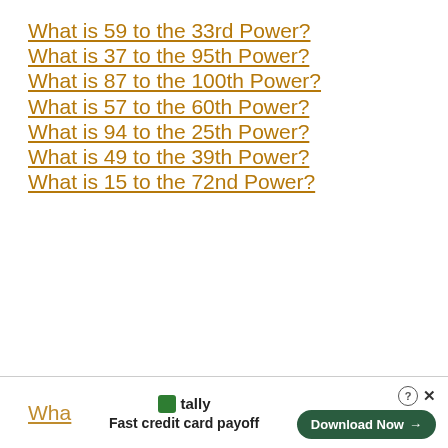What is 59 to the 33rd Power?
What is 37 to the 95th Power?
What is 87 to the 100th Power?
What is 57 to the 60th Power?
What is 94 to the 25th Power?
What is 49 to the 39th Power?
What is 15 to the 72nd Power?
Wha | tally Fast credit card payoff | Download Now →